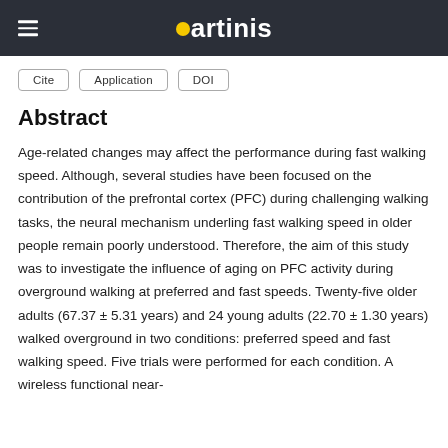artinis
Cite  Application  DOI
Abstract
Age-related changes may affect the performance during fast walking speed. Although, several studies have been focused on the contribution of the prefrontal cortex (PFC) during challenging walking tasks, the neural mechanism underling fast walking speed in older people remain poorly understood. Therefore, the aim of this study was to investigate the influence of aging on PFC activity during overground walking at preferred and fast speeds. Twenty-five older adults (67.37 ± 5.31 years) and 24 young adults (22.70 ± 1.30 years) walked overground in two conditions: preferred speed and fast walking speed. Five trials were performed for each condition. A wireless functional near-